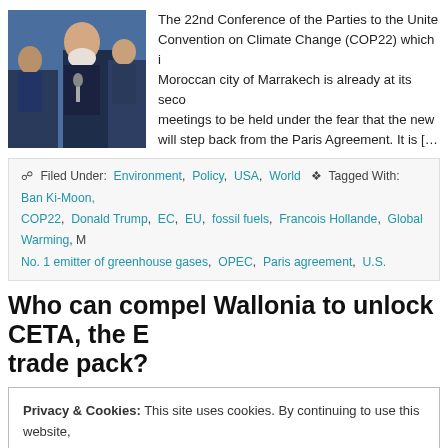[Figure (photo): Photo of a man with white beard speaking at a conference table with microphone]
The 22nd Conference of the Parties to the United Nations Framework Convention on Climate Change (COP22) which is being held in the Moroccan city of Marrakech is already at its second of two weeks of meetings to be held under the fear that the new American president will step back from the Paris Agreement. It is […]
Filed Under: Environment, Policy, USA, World  Tagged With: Ban Ki-Moon, COP22, Donald Trump, EC, EU, fossil fuels, Francois Hollande, Global Warming, M… No. 1 emitter of greenhouse gases, OPEC, Paris agreement, U.S.
Who can compel Wallonia to unlock CETA, the E… trade pack?
Privacy & Cookies: This site uses cookies. By continuing to use this website, you agree to their use.
To find out more, including how to control cookies, see here: Cookie Policy
Close and accept
that took eight years to the Brussels Commission…